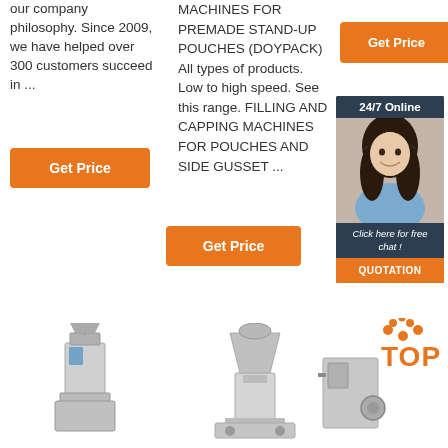our company philosophy. Since 2009, we have helped over 300 customers succeed in ...
[Figure (other): Orange 'Get Price' button on left column]
MACHINES FOR PREMADE STAND-UP POUCHES (DOYPACK) All types of products. Low to high speed. See this range. FILLING AND CAPPING MACHINES FOR POUCHES AND SIDE GUSSET ...
[Figure (other): Orange 'Get Price' button in top right area]
[Figure (infographic): Dark blue panel showing 24/7 Online support with woman wearing headset, 'Click here for free chat!' text, and orange QUOTATION button]
[Figure (other): Orange 'Get Price' button in middle column]
[Figure (photo): Three industrial packaging/grinding machines at the bottom of the page, with a TOP badge logo on the right]
[Figure (logo): TOP logo with orange dots forming a triangle and orange text]